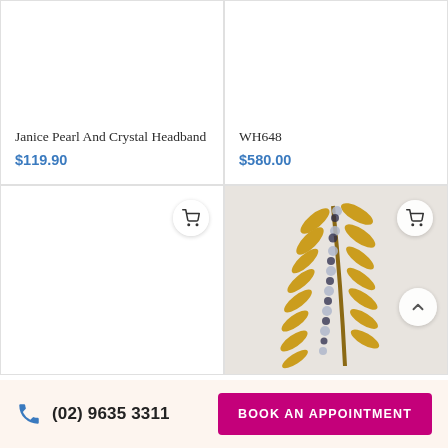Janice Pearl And Crystal Headband
$119.90
WH648
$580.00
[Figure (photo): Close-up photo of a gold leaf and crystal/gemstone decorative hairpiece or tiara displayed against a white background.]
(02) 9635 3311
BOOK AN APPOINTMENT